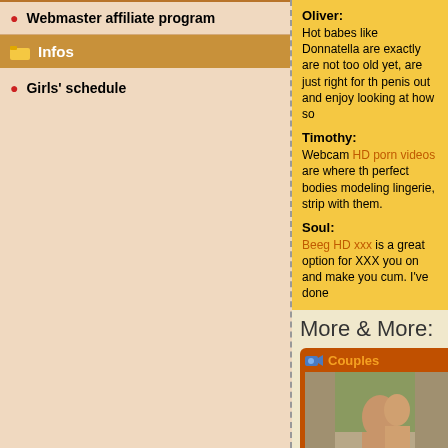Webmaster affiliate program
Infos
Girls' schedule
Oliver: Hot babes like Donnatella are exactly are not too old yet, are just right for the penis out and enjoy looking at how so
Timothy: Webcam HD porn videos are where the perfect bodies modeling lingerie, strip with them.
Soul: Beeg HD xxx is a great option for XXX you on and make you cum. I've done
More & More:
[Figure (photo): Card showing Couples category with a photo of a couple, ONLINE button, only 1-2 Coins, Hot nasty babes and thick cocks fucking hard]
ONLINE only 1-2 Coins Hot nasty babes and thick cocks fucking hard